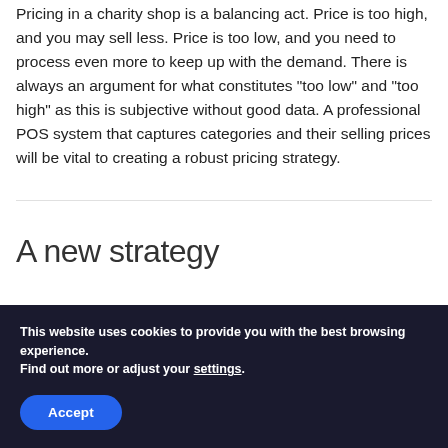Pricing in a charity shop is a balancing act. Price is too high, and you may sell less. Price is too low, and you need to process even more to keep up with the demand. There is always an argument for what constitutes "too low" and "too high" as this is subjective without good data. A professional POS system that captures categories and their selling prices will be vital to creating a robust pricing strategy.
A new strategy
This website uses cookies to provide you with the best browsing experience. Find out more or adjust your settings.